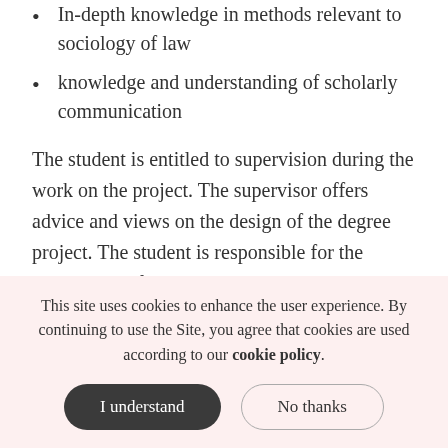In-depth knowledge in methods relevant to sociology of law
knowledge and understanding of scholarly communication
The student is entitled to supervision during the work on the project. The supervisor offers advice and views on the design of the degree project. The student is responsible for the completion of the project.
Entry requirements
To be admitted to the course, students must meet basic
This site uses cookies to enhance the user experience. By continuing to use the Site, you agree that cookies are used according to our cookie policy.